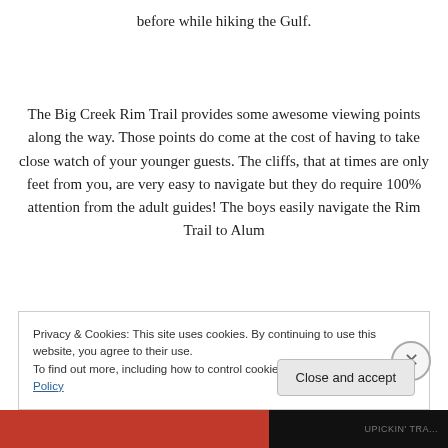before while hiking the Gulf.
The Big Creek Rim Trail provides some awesome viewing points along the way. Those points do come at the cost of having to take close watch of your younger guests. The cliffs, that at times are only feet from you, are very easy to navigate but they do require 100% attention from the adult guides! The boys easily navigate the Rim Trail to Alum
Privacy & Cookies: This site uses cookies. By continuing to use this website, you agree to their use.
To find out more, including how to control cookies, see here: Cookie Policy
Close and accept